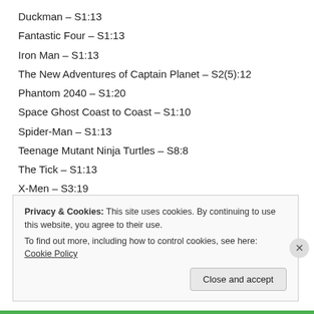Duckman – S1:13
Fantastic Four – S1:13
Iron Man – S1:13
The New Adventures of Captain Planet – S2(5):12
Phantom 2040 – S1:20
Space Ghost Coast to Coast – S1:10
Spider-Man – S1:13
Teenage Mutant Ninja Turtles – S8:8
The Tick – S1:13
X-Men – S3:19
1995
Privacy & Cookies: This site uses cookies. By continuing to use this website, you agree to their use.
To find out more, including how to control cookies, see here: Cookie Policy
Close and accept